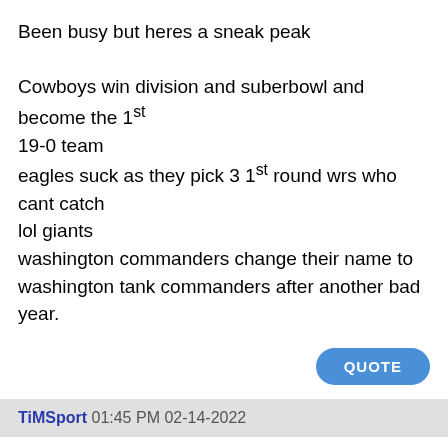Been busy but heres a sneak peak

Cowboys win division and suberbowl and become the 1st 19-0 team
eagles suck as they pick 3 1st round wrs who cant catch lol giants
washington commanders change their name to washington tank commanders after another bad year.
QUOTE
TiMSport 01:45 PM 02-14-2022
Quote:
Originally Posted by TXSTYLE
I was at the Star in Frisco watching the SB at their Private Club. It was a really good game. Which is all anyone can ask for.
As far as my Cowboys...
No ring for them until: